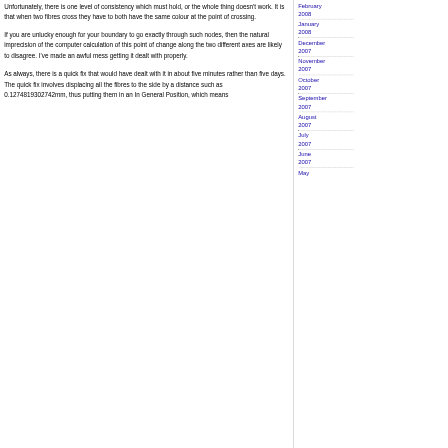Unfortunately, there is one level of consistency which must hold, or the whole thing doesn't work. It is that when two fibres cross they have to both have the same colour at the point of crossing.
If you are unlucky enough for your boundary to go exactly through such nodes, then the natural imprecision of the computer calculation of this point of change along the two different axes are likely to disagree. I've made an awful mess getting it dealt with properly.
As always, there is a quick fix that would have dealt with it in about five minutes rather than five days. The quick fix involves displacing all the fibres to the side by a distance such as 0.1274819302742mm, thus putting them in an In General Position, which means
February 2008
January 2008
December 2007
November 2007
October 2007
September 2007
August 2007
July 2007
June 2007
May